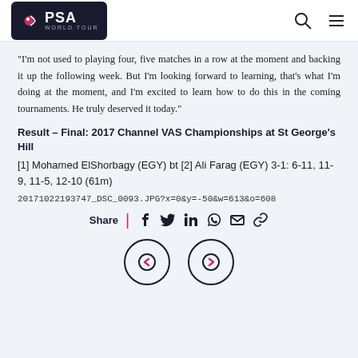PSA World Tour
“I’m not used to playing four, five matches in a row at the moment and backing it up the following week. But I’m looking forward to learning, that’s what I’m doing at the moment, and I’m excited to learn how to do this in the coming tournaments. He truly deserved it today.”
Result – Final: 2017 Channel VAS Championships at St George’s Hill
[1] Mohamed ElShorbagy (EGY) bt [2] Ali Farag (EGY) 3-1: 6-11, 11-9, 11-5, 12-10 (61m)
20171022193747_DSC_0093.JPG?x=0&y=-50&w=613&o=608